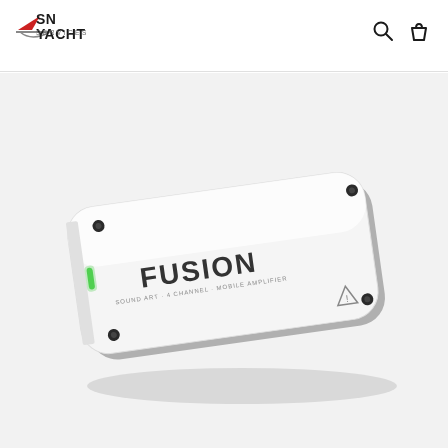SN YACHT SERVICES
[Figure (photo): Fusion brand white rectangular marine amplifier/audio device with rounded corners, green LED indicator on the left side, black mounting screws at corners, and warning symbol at bottom right. The device is shown at a slight angle on a white/light grey background.]